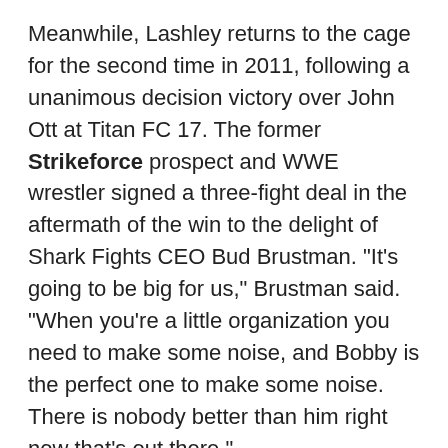Meanwhile, Lashley returns to the cage for the second time in 2011, following a unanimous decision victory over John Ott at Titan FC 17. The former Strikeforce prospect and WWE wrestler signed a three-fight deal in the aftermath of the win to the delight of Shark Fights CEO Bud Brustman. "It's going to be big for us," Brustman said. "When you're a little organization you need to make some noise, and Bobby is the perfect one to make some noise. There is nobody better than him right now that's out there."
Shark Fights 21 will be held on November 11th at the Fair Park Coliseum in Lubbock, Texas. FUEL TV is scheduled to air a tape-delay broadcast on December 23rd.